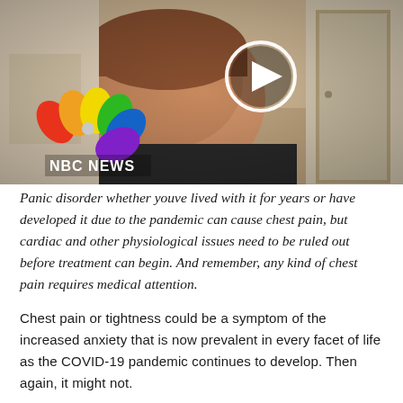[Figure (screenshot): NBC News video thumbnail showing a middle-aged man in a dark shirt in a home interior setting, with an NBC News logo (peacock) in the lower left and a play button overlay in the center.]
Panic disorder whether youve lived with it for years or have developed it due to the pandemic can cause chest pain, but cardiac and other physiological issues need to be ruled out before treatment can begin. And remember, any kind of chest pain requires medical attention.
Chest pain or tightness could be a symptom of the increased anxiety that is now prevalent in every facet of life as the COVID-19 pandemic continues to develop. Then again, it might not.
Chest pain also can be the result of a cardiac issue or due to